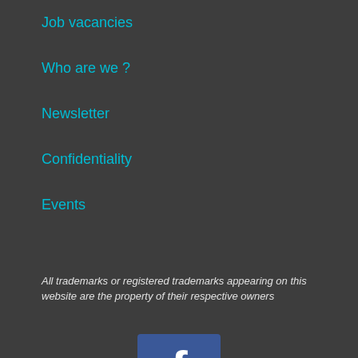Job vacancies
Who are we ?
Newsletter
Confidentiality
Events
All trademarks or registered trademarks appearing on this website are the property of their respective owners
[Figure (logo): Facebook Follow button widget with blue Facebook logo icon and Follow button]
[Figure (logo): LinkedIn logo icon in blue square]